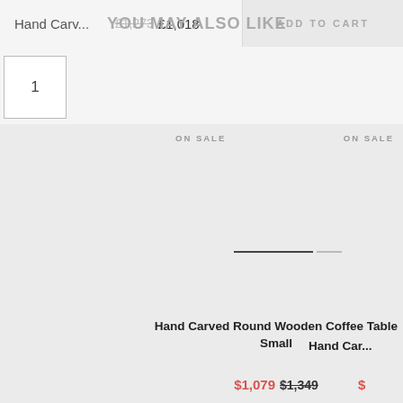Hand Carv...   £1,273  £1,018   ADD TO CART
YOU MAY ALSO LIKE
1
ON SALE
ON SALE
[Figure (photo): Product image placeholder area with loading indicator lines for Hand Carved Round Wooden Coffee Table Small]
Hand Carved Round Wooden Coffee Table Small
$1,079  $1,349
Hand Car...
$